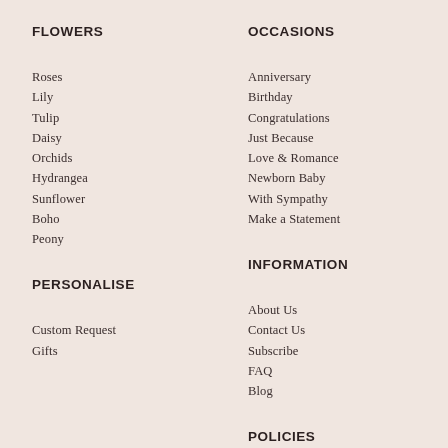FLOWERS
Roses
Lily
Tulip
Daisy
Orchids
Hydrangea
Sunflower
Boho
Peony
PERSONALISE
Custom Request
Gifts
OCCASIONS
Anniversary
Birthday
Congratulations
Just Because
Love & Romance
Newborn Baby
With Sympathy
Make a Statement
INFORMATION
About Us
Contact Us
Subscribe
FAQ
Blog
POLICIES
Terms & Conditions
Shipping Policy